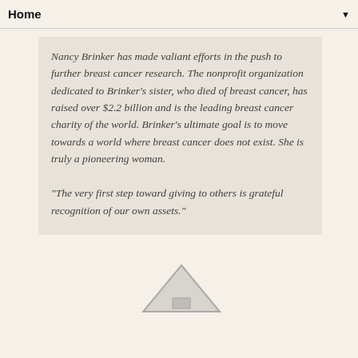Home
Nancy Brinker has made valiant efforts in the push to further breast cancer research. The nonprofit organization dedicated to Brinker's sister, who died of breast cancer, has raised over $2.2 billion and is the leading breast cancer charity of the world. Brinker's ultimate goal is to move towards a world where breast cancer does not exist. She is truly a pioneering woman.
"The very first step toward giving to others is grateful recognition of our own assets."
[Figure (illustration): A scroll-to-top button icon: a grey outlined triangle (upward-pointing arrow) with a small square/rectangle shape inside near the base, rendered in grey tones on a light beige background.]